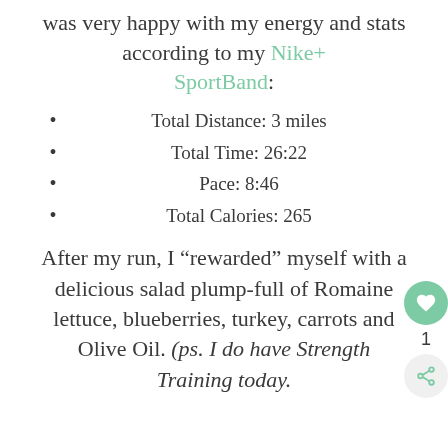was very happy with my energy and stats according to my Nike+ SportBand:
Total Distance: 3 miles
Total Time: 26:22
Pace: 8:46
Total Calories: 265
After my run, I “rewarded” myself with a delicious salad plump-full of Romaine lettuce, blueberries, turkey, carrots and Olive Oil. (ps. I do have Strength Training today.